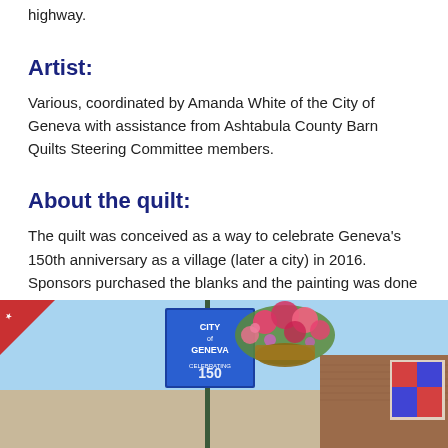highway.
Artist:
Various, coordinated by Amanda White of the City of Geneva with assistance from Ashtabula County Barn Quilts Steering Committee members.
About the quilt:
The quilt was conceived as a way to celebrate Geneva’s 150th anniversary as a village (later a city) in 2016. Sponsors purchased the blanks and the painting was done by volunteers during the spring of 2016. It was raised on June 20, 2016, and dedicated July 23, 2016.
[Figure (photo): Outdoor photo showing a City of Geneva banner on a pole with hanging flower basket and a brick building in the background. A red corner ribbon/badge is visible in the top left.]